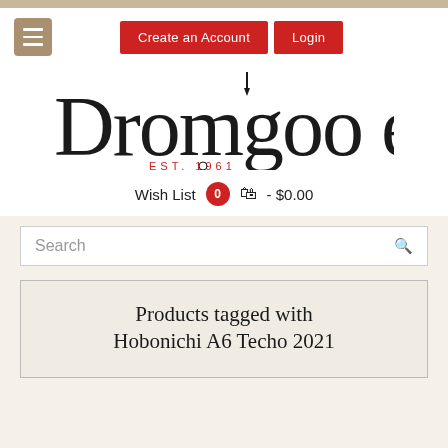Dromgoole's EST. 1961
Create an Account  Login
[Figure (logo): Dromgoole's EST. 1961 logo with fountain pen incorporated into letter l]
Wish List  0  - $0.00
Search
Products tagged with Hobonichi A6 Techo 2021